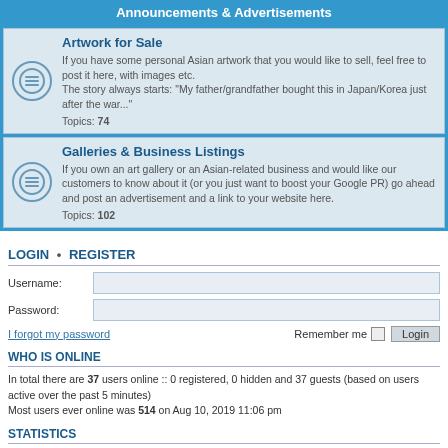Announcements & Advertisements
Artwork for Sale
If you have some personal Asian artwork that you would like to sell, feel free to post it here, with images etc.
The story always starts: "My father/grandfather bought this in Japan/Korea just after the war..."
Topics: 74
Galleries & Business Listings
If you own an art gallery or an Asian-related business and would like our customers to know about it (or you just want to boost your Google PR) go ahead and post an advertisement and a link to your website here.
Topics: 102
LOGIN • REGISTER
Username:
Password:
I forgot my password    Remember me  Login
WHO IS ONLINE
In total there are 37 users online :: 0 registered, 0 hidden and 37 guests (based on users active over the past 5 minutes)
Most users ever online was 514 on Aug 10, 2019 11:06 pm
STATISTICS
Total posts 14348 • Total topics 3698 • Total members 3106 • Our newest member shufa